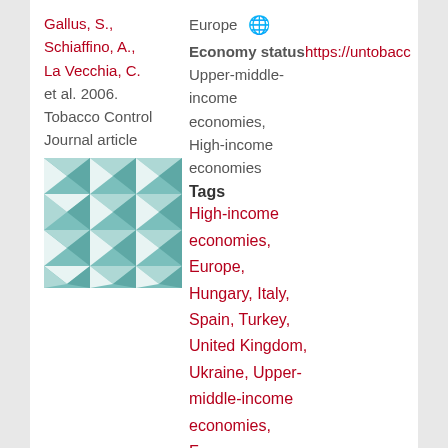Gallus, S., Schiaffino, A., La Vecchia, C. et al. 2006. Tobacco Control Journal article
Europe Economy status https://untobacco... Upper-middle-income economies, High-income economies
[Figure (photo): Thumbnail image showing geometric pattern of white/teal pyramid shapes arranged in a grid]
Tags
High-income economies, Europe, Hungary, Italy, Spain, Turkey, United Kingdom, Ukraine, Upper-middle-income economies, France, Germany